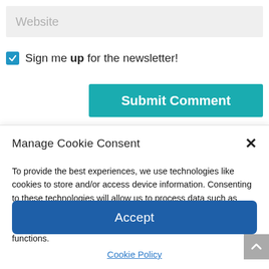Website
Sign me up for the newsletter!
Submit Comment
Manage Cookie Consent
To provide the best experiences, we use technologies like cookies to store and/or access device information. Consenting to these technologies will allow us to process data such as browsing behavior or unique IDs on this site. Not consenting or withdrawing consent, may adversely affect certain features and functions.
Accept
Cookie Policy